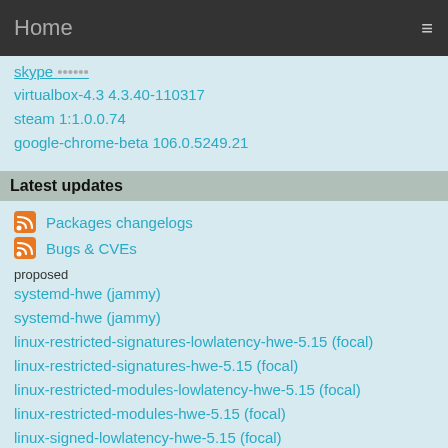Home
skype ????? (truncated)
virtualbox-4.3 4.3.40-110317
steam 1:1.0.0.74
google-chrome-beta 106.0.5249.21
Latest updates
Packages changelogs
Bugs & CVEs
proposed
systemd-hwe (jammy)
systemd-hwe (jammy)
linux-restricted-signatures-lowlatency-hwe-5.15 (focal)
linux-restricted-signatures-hwe-5.15 (focal)
linux-restricted-modules-lowlatency-hwe-5.15 (focal)
linux-restricted-modules-hwe-5.15 (focal)
linux-signed-lowlatency-hwe-5.15 (focal)
linux-signed-hwe-5.15 (focal)
linux-meta-lowlatency-hwe-5.15 (focal)
linux-meta-hwe-5.15 (focal)